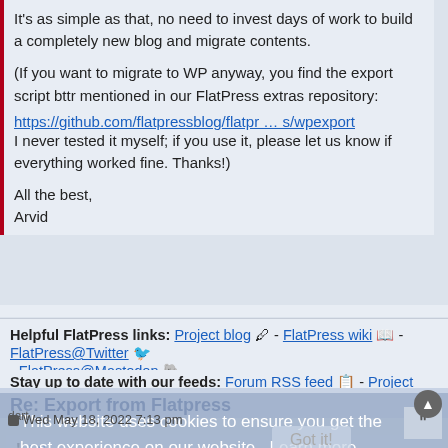It's as simple as that, no need to invest days of work to build a completely new blog and migrate contents.
(If you want to migrate to WP anyway, you find the export script bttr mentioned in our FlatPress extras repository:
https://github.com/flatpressblog/flatpr … s/wpexport
I never tested it myself; if you use it, please let us know if everything worked fine. Thanks!)
All the best,
Arvid
Helpful FlatPress links: Project blog 🖊 - FlatPress wiki 📖 - FlatPress@Twitter 🐦 - FlatPress@Mastodon 🐘
Stay up to date with our feeds: Forum RSS feed 📋 - Project blog RSS feed 📋
This website uses cookies to ensure you get the best experience on our website. Learn more
dart
Re: Export from Flatpress
Wed May 18, 2022 7:13 pm
Got it!
« bttr wrote: ↑